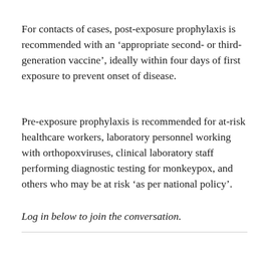For contacts of cases, post-exposure prophylaxis is recommended with an ‘appropriate second- or third-generation vaccine’, ideally within four days of first exposure to prevent onset of disease.
Pre-exposure prophylaxis is recommended for at-risk healthcare workers, laboratory personnel working with orthopoxviruses, clinical laboratory staff performing diagnostic testing for monkeypox, and others who may be at risk ‘as per national policy’.
Log in below to join the conversation.
[Figure (other): Social sharing buttons: Facebook, Twitter, LinkedIn, Google, and a share/print icon. A blue scroll-to-top button with an upward chevron on the right.]